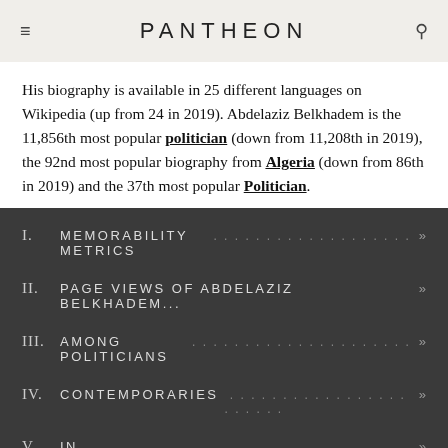PANTHEON
His biography is available in 25 different languages on Wikipedia (up from 24 in 2019). Abdelaziz Belkhadem is the 11,856th most popular politician (down from 11,208th in 2019), the 92nd most popular biography from Algeria (down from 86th in 2019) and the 37th most popular Politician.
I. MEMORABILITY METRICS .....................»
II. PAGE VIEWS OF ABDELAZIZ BELKHADEM... »
III. AMONG POLITICIANS .......................»
IV. CONTEMPORARIES ..........................»
V. IN ALGERIA................................»